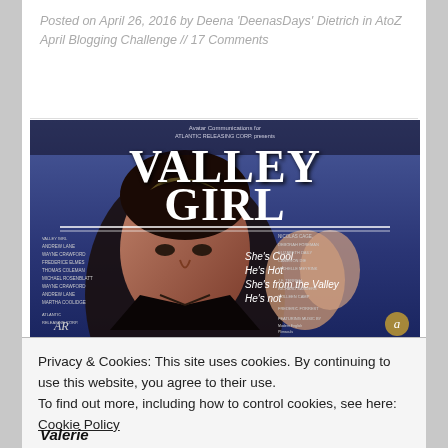Posted on April 26, 2016 by Deena 'DeenasDays' Dietrich in AtoZ April Blogging Challenge // 17 Comments
[Figure (photo): Movie poster for 'Valley Girl' featuring Nicolas Cage in the foreground with taglines 'She's Cool He's Hot She's from the Valley He's not'. Credits include NICOLAS CAGE, DEBORAH FOREMAN, ELIZABETH DAILY, CAMERON DIE, MICHELLE MEYRINK. Produced by Avatar Communications for Atlantic Releasing Corp.]
Privacy & Cookies: This site uses cookies. By continuing to use this website, you agree to their use.
To find out more, including how to control cookies, see here: Cookie Policy
Close and accept
Valerie